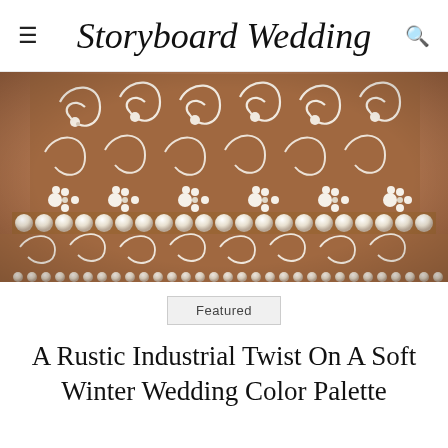Storyboard Wedding
[Figure (photo): Close-up photograph of a multi-tiered wedding cake decorated with intricate white piped swirl and floral lace patterns on a brown chocolate base, with white pearl ball borders between tiers]
Featured
A Rustic Industrial Twist On A Soft Winter Wedding Color Palette